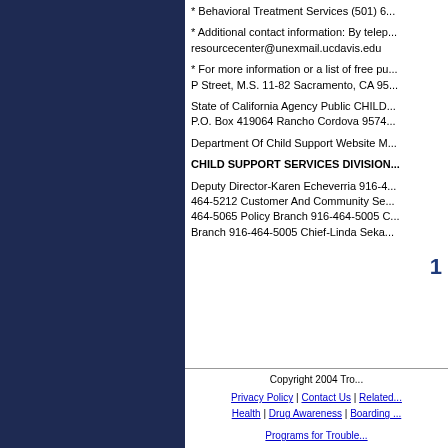* Behavioral Treatment Services (501) 6...
* Additional contact information: By telep... resourcecenter@unexmail.ucdavis.edu
* For more information or a list of free pu... P Street, M.S. 11-82 Sacramento, CA 95...
State of California Agency Public CHILD... P.O. Box 419064 Rancho Cordova 9574...
Department Of Child Support Website M...
CHILD SUPPORT SERVICES DIVISION...
Deputy Director-Karen Echeverria 916-4... 464-5212 Customer And Community Se... 464-5065 Policy Branch 916-464-5005 C... Branch 916-464-5005 Chief-Linda Seka...
1
Copyright 2004 Tro... Privacy Policy | Contact Us | Related... Health | Drug Awareness | Boarding... Programs for Trouble...